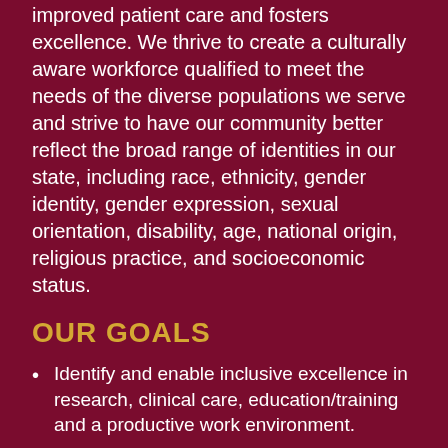improved patient care and fosters excellence. We thrive to create a culturally aware workforce qualified to meet the needs of the diverse populations we serve and strive to have our community better reflect the broad range of identities in our state, including race, ethnicity, gender identity, gender expression, sexual orientation, disability, age, national origin, religious practice, and socioeconomic status.
OUR GOALS
Identify and enable inclusive excellence in research, clinical care, education/training and a productive work environment.
Implement on-going and systematic initiatives designed for the recruitment, retention, and development of learners